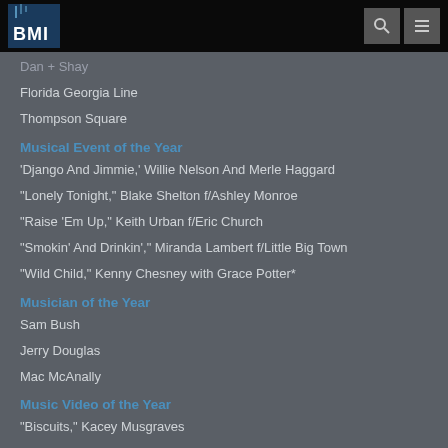BMI
Dan + Shay
Florida Georgia Line
Thompson Square
Musical Event of the Year
'Django And Jimmie,' Willie Nelson And Merle Haggard
"Lonely Tonight," Blake Shelton f/Ashley Monroe
"Raise 'Em Up," Keith Urban f/Eric Church
"Smokin' And Drinkin'," Miranda Lambert f/Little Big Town
"Wild Child," Kenny Chesney with Grace Potter*
Musician of the Year
Sam Bush
Jerry Douglas
Mac McAnally
Music Video of the Year
"Biscuits," Kacey Musgraves
"Girl Crush," Little Big Town